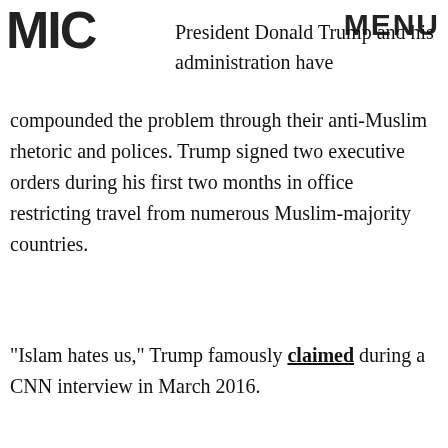MIC MENU
President Donald Trump and his administration have compounded the problem through their anti-Muslim rhetoric and polices. Trump signed two executive orders during his first two months in office restricting travel from numerous Muslim-majority countries.
"Islam hates us," Trump famously claimed during a CNN interview in March 2016.